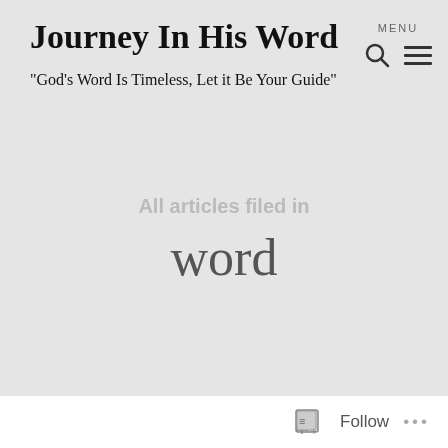Journey In His Word
"God's Word Is Timeless, Let it Be Your Guide"
All articles filed in
word
Follow ...